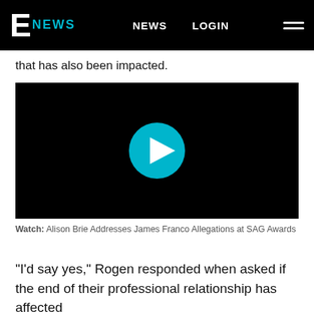E NEWS  NEWS  LOGIN
that has also been impacted.
[Figure (other): Video player with black background and a teal circular play button in the center]
Watch: Alison Brie Addresses James Franco Allegations at SAG Awards
"I'd say yes," Rogen responded when asked if the end of their professional relationship has affected